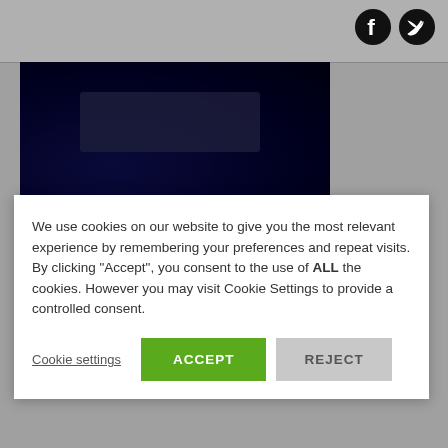[Figure (logo): Facebook and Twitter social media icons in top right corner]
[Figure (photo): Dark image with blue glowing elements, appears to be electronic equipment]
We use cookies on our website to give you the most relevant experience by remembering your preferences and repeat visits. By clicking “Accept”, you consent to the use of ALL the cookies. However you may visit Cookie Settings to provide a controlled consent.
Cookie settings
ACCEPT
REJECT